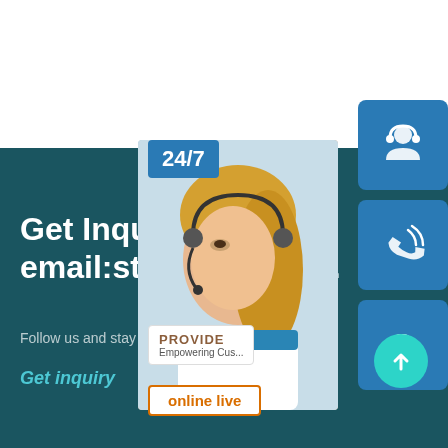[Figure (infographic): Contact/inquiry section with dark teal background. Shows partial text 'Get Inquiry to email:steelsale1@1...' in large white bold text. Right side shows a customer service representative photo, 24/7 badge, three blue icon buttons (headset, phone, Skype), PROVIDE Empowering Customers box, online live button, and teal up-arrow circle.]
Get Inquiry to email:steelsale1@1...
Follow us and stay in touch to get the latest news...
Get inquiry